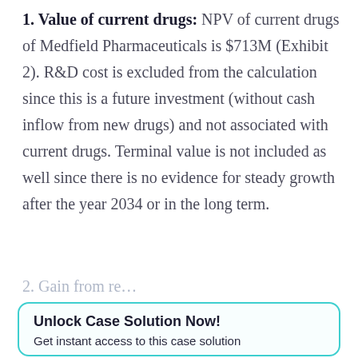1. Value of current drugs: NPV of current drugs of Medfield Pharmaceuticals is $713M (Exhibit 2). R&D cost is excluded from the calculation since this is a future investment (without cash inflow from new drugs) and not associated with current drugs. Terminal value is not included as well since there is no evidence for steady growth after the year 2034 or in the long term.
2. Gain from re…
Unlock Case Solution Now! Get instant access to this case solution